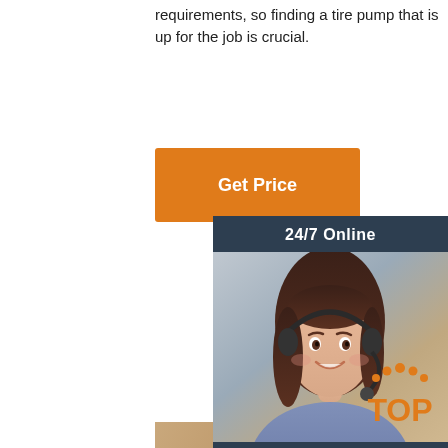requirements, so finding a tire pump that is up for the job is crucial.
[Figure (other): Orange 'Get Price' button]
[Figure (other): 24/7 Online customer service chat box with photo of smiling woman with headset, 'Click here for free chat!' text, and orange QUOTATION button]
[Figure (photo): Product photo of a portable tire pump/inflator with flexible hose, orange connector, digital display showing '888', and separate battery/compressor unit with speaker grille, against warm brown background]
[Figure (logo): Orange 'TOP' badge logo in bottom right corner]